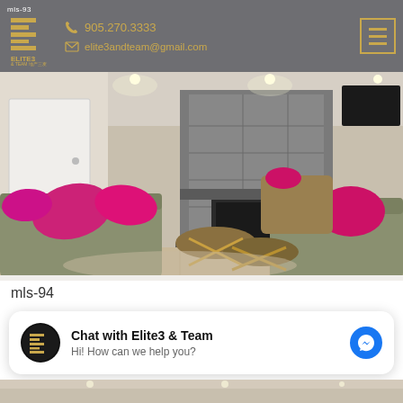mls-93  |  905.270.3333  |  elite3andteam@gmail.com
[Figure (photo): Interior living room with green couches, bright pink pillows, gold side tables, and a modern fireplace with stone surround]
mls-94
Chat with Elite3 & Team
Hi! How can we help you?